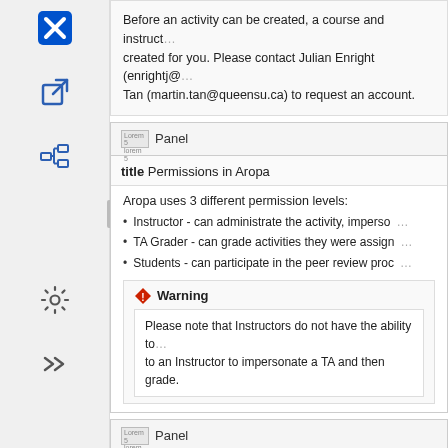[Figure (screenshot): Left sidebar with navigation icons: X (Confluence logo), external link icon, tree/hierarchy icon, settings gear icon, and double chevron icon]
Before an activity can be created, a course and instructor account must be created for you. Please contact Julian Enright (enrightj@...) or Martin Tan (martin.tan@queensu.ca) to request an account.
Panel
title Permissions in Aropa
Aropa uses 3 different permission levels:
Instructor - can administrate the activity, impersonate...
TA Grader - can grade activities they were assigned...
Students - can participate in the peer review process...
Warning
Please note that Instructors do not have the ability to... to an Instructor to impersonate a TA and then grade.
Panel